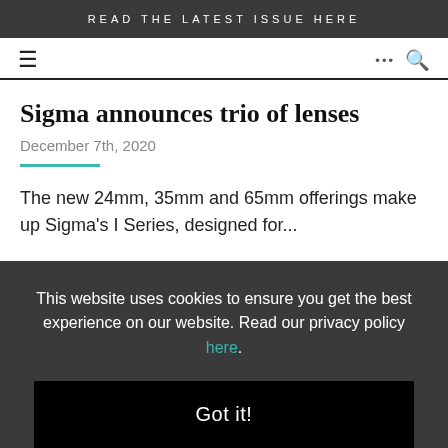READ THE LATEST ISSUE HERE
[Figure (other): Navigation bar with hamburger menu icon on the left and ellipsis/search icons on the right]
Sigma announces trio of lenses
December 7th, 2020
The new 24mm, 35mm and 65mm offerings make up Sigma's I Series, designed for...
This website uses cookies to ensure you get the best experience on our website. Read our privacy policy here.
Got it!